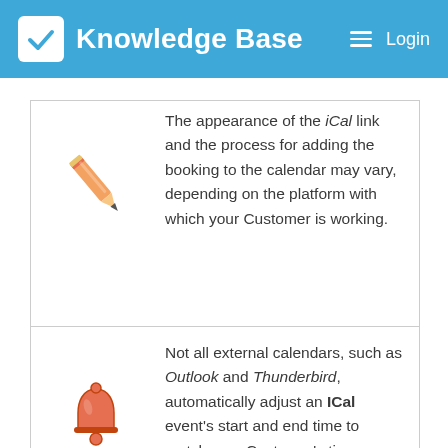Knowledge Base  Login
The appearance of the iCal link and the process for adding the booking to the calendar may vary, depending on the platform with which your Customer is working.
Not all external calendars, such as Outlook and Thunderbird, automatically adjust an ICal event's start and end time to match your Customer's timezone when added to their personal calendar. Some calendars that do are Google Calendar and Apple Calendar.